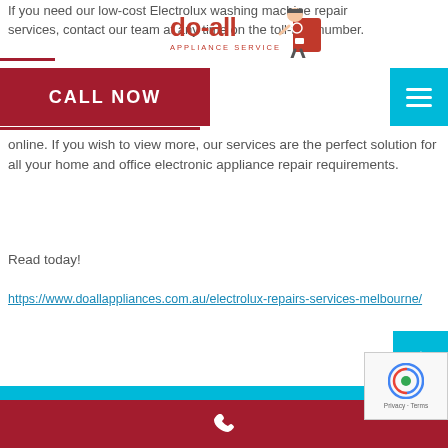[Figure (logo): Do-All Appliance Service logo with cartoon repairman character holding a washing machine]
If you need our low-cost Electrolux washing machine repair services, contact our team at any time on the toll-free number.
[Figure (other): CALL NOW red button]
[Figure (other): Hamburger menu button in cyan]
online. If you wish to view more, our services are the perfect solution for all your home and office electronic appliance repair requirements.
Read today!
https://www.doallappliances.com.au/electrolux-repairs-services-melbourne/
[Figure (other): Back to top arrow button in cyan]
[Figure (other): reCAPTCHA badge with Privacy - Terms text]
Phone icon in red footer bar